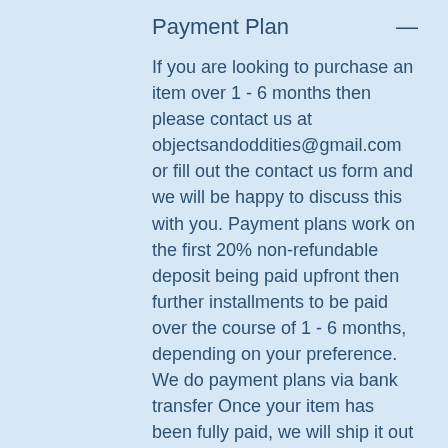Payment Plan
If you are looking to purchase an item over 1 - 6 months then please contact us at objectsandoddities@gmail.com or fill out the contact us form and we will be happy to discuss this with you. Payment plans work on the first 20% non-refundable deposit being paid upfront then further installments to be paid over the course of 1 - 6 months, depending on your preference. We do payment plans via bank transfer Once your item has been fully paid, we will ship it out to you within 3 working days of final payment.
Shipping
Shipping will vary depending on size, weight and the value of the item purchased. We will use Royal Mail and